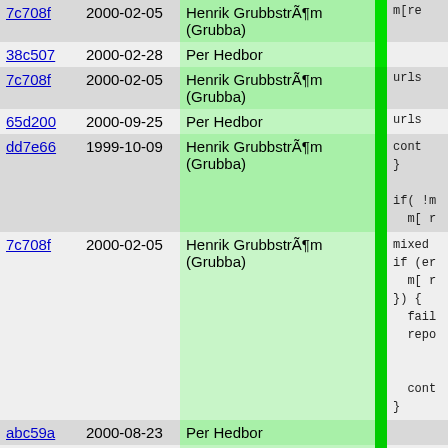| hash | date | author | indicator | code |
| --- | --- | --- | --- | --- |
| 7c708f | 2000-02-05 | Henrik GrubbströmÃ¶m (Grubba) |  | m[re |
| 38c507 | 2000-02-28 | Per Hedbor |  |  |
| 7c708f | 2000-02-05 | Henrik GrubbströmÃ¶m (Grubba) |  | urls |
| 65d200 | 2000-09-25 | Per Hedbor |  | urls |
| dd7e66 | 1999-10-09 | Henrik GrubbströmÃ¶m (Grubba) |  | cont
}

if( !m
  m[ r |
| 7c708f | 2000-02-05 | Henrik GrubbströmÃ¶m (Grubba) |  | mixed
if (er
  m[ r
}) {
  fail
  repo



  cont
} |
| abc59a | 2000-08-23 | Per Hedbor |  |  |
| dd7e66 | 1999-10-09 | Henrik GrubbströmÃ¶m (Grubba) |  | if( !( |